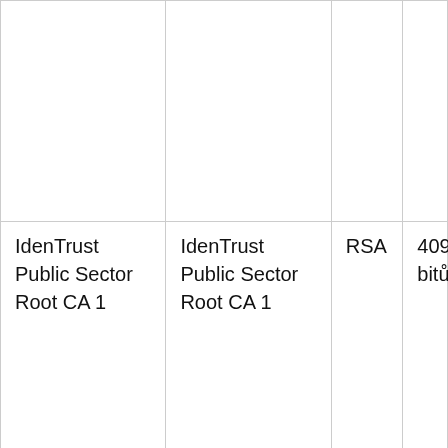|  |  |  |  |
| IdenTrust Public Sector Root CA 1 | IdenTrust Public Sector Root CA 1 | RSA | 4096 bitů |
| Izenpe.com | Izenpe.com | RSA | 2048 bitů |
| Izenpe.com | Izenpe.com | RSA | 4096 bitů |